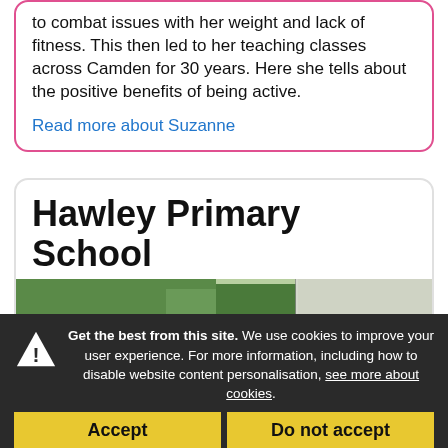to combat issues with her weight and lack of fitness. This then led to her teaching classes across Camden for 30 years. Here she tells about the positive benefits of being active.
Read more about Suzanne
Hawley Primary School
[Figure (photo): Outdoor photo showing sports facility signs: 'Sport and' (blue text on white) and 'HELPING ATHLETES ACHIEVE THEIR' (green text on white), with green trees and fence in background.]
Get the best from this site. We use cookies to improve your user experience. For more information, including how to disable website content personalisation, see more about cookies.
Accept
Do not accept